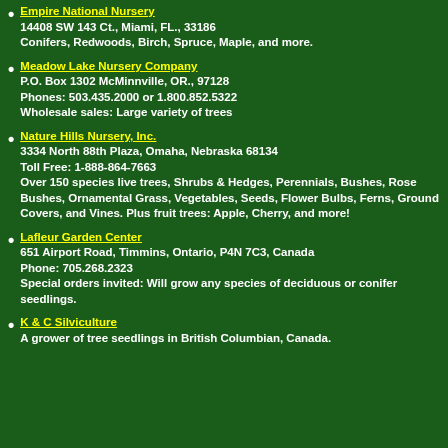Empire National Nursery
14408 SW 143 Ct., Miami, FL., 33186
Conifers, Redwoods, Birch, Spruce, Maple, and more.
Meadow Lake Nursery Company
P.O. Box 1302 McMinnville, OR., 97128
Phones: 503.435.2000 or 1.800.852.5322
Wholesale sales: Large variety of trees
Nature Hills Nursery, Inc.
3334 North 88th Plaza, Omaha, Nebraska 68134
Toll Free: 1-888-864-7663
Over 150 species live trees, Shrubs & Hedges, Perennials, Bushes, Rose Bushes, Ornamental Grass, Vegetables, Seeds, Flower Bulbs, Ferns, Ground Covers, and Vines. Plus fruit trees: Apple, Cherry, and more!
Lafleur Garden Center
651 Airport Road, Timmins, Ontario, P4N 7C3, Canada
Phone: 705.268.2323
Special orders invited: Will grow any species of deciduous or conifer seedlings.
K & C Silviculture
A grower of tree seedlings in British Columbian, Canada.